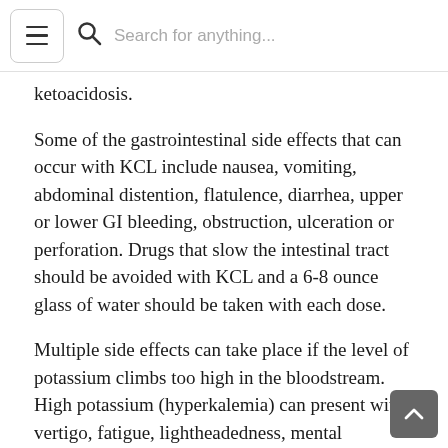Search for anything...
ketoacidosis.
Some of the gastrointestinal side effects that can occur with KCL include nausea, vomiting, abdominal distention, flatulence, diarrhea, upper or lower GI bleeding, obstruction, ulceration or perforation. Drugs that slow the intestinal tract should be avoided with KCL and a 6-8 ounce glass of water should be taken with each dose.
Multiple side effects can take place if the level of potassium climbs too high in the bloodstream. High potassium (hyperkalemia) can present with vertigo, fatigue, lightheadedness, mental confusion, unstable blood pressure, numbness